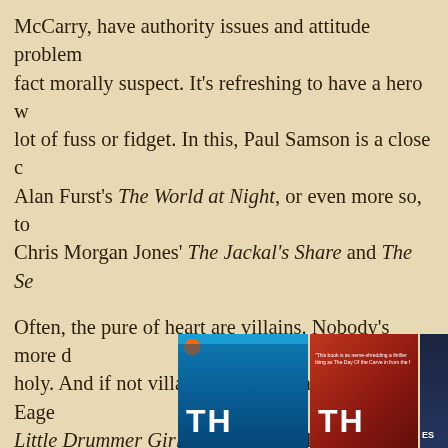McCarry, have authority issues and attitude problems, and are in fact morally suspect. It's refreshing to have a hero who doesn't make a lot of fuss or fidget. In this, Paul Samson is a close cousin to Alan Furst's The World at Night, or even more so, to Chris Morgan Jones' The Jackal's Share and The Se...
Often, the pure of heart are villains. Nobody's more dangerous than the holy. And if not villains, then victims, or pawns. Eager dupes (cf. Little Drummer Girl.) There's actually a lot to be said for doing the wrong thing for the right reasons. I've been thinking about this a lot in my own stories. I favor a little ambiguity, but the souls of Rio Arriba sheriff Benny Salvador or the old Texas st... are always out of place.
[Figure (photo): Partial view of book covers: a teal/blue cover with a silhouetted figure and partial text 'TH', an orange-red cover with partial text 'TH', and a dark blue cover partially visible.]